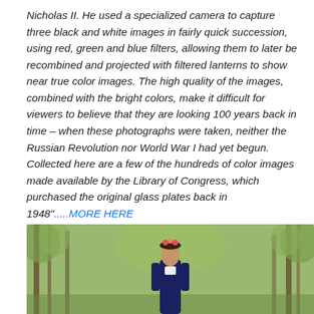Nicholas II. He used a specialized camera to capture three black and white images in fairly quick succession, using red, green and blue filters, allowing them to later be recombined and projected with filtered lanterns to show near true color images. The high quality of the images, combined with the bright colors, make it difficult for viewers to believe that they are looking 100 years back in time – when these photographs were taken, neither the Russian Revolution nor World War I had yet begun. Collected here are a few of the hundreds of color images made available by the Library of Congress, which purchased the original glass plates back in 1948".....MORE HERE
[Figure (photo): A woman in traditional dress with a floral headpiece standing outdoors among trees with green foliage.]